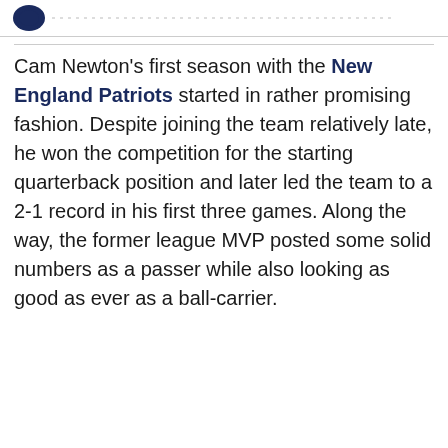[logo / header bar]
Cam Newton's first season with the New England Patriots started in rather promising fashion. Despite joining the team relatively late, he won the competition for the starting quarterback position and later led the team to a 2-1 record in his first three games. Along the way, the former league MVP posted some solid numbers as a passer while also looking as good as ever as a ball-carrier.